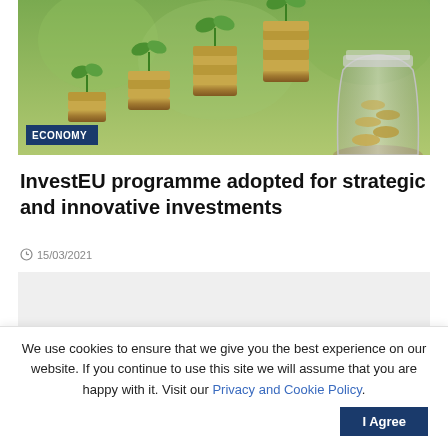[Figure (photo): Hero image showing stacks of coins growing in size with green plants on top, and a glass jar filled with coins on the right side. A dark blue 'ECONOMY' tag is overlaid at the bottom left.]
InvestEU programme adopted for strategic and innovative investments
15/03/2021
[Figure (other): Gray placeholder content area (advertisement or embedded content)]
We use cookies to ensure that we give you the best experience on our website. If you continue to use this site we will assume that you are happy with it. Visit our Privacy and Cookie Policy.